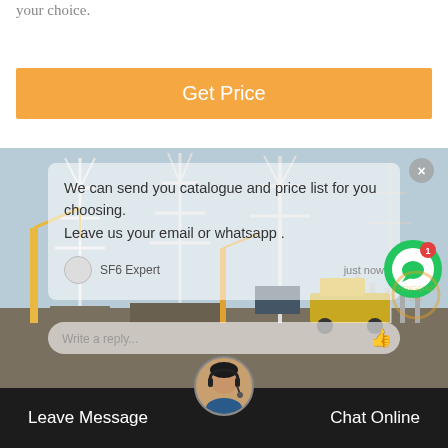your choice.
Get Price
[Figure (screenshot): Screenshot of a website showing an electrical substation with high-voltage transmission towers and construction cranes, overlaid with a chat/popup interface. The chat overlay contains the message: 'We can send you catalogue and price list for you choosing. Leave us your email or whatsapp .' with sender 'SF6 Expert' and timestamp 'just now'. A 'Write a reply...' input box is at the bottom. A green chat notification circle with a '1' badge is visible in the upper right of the image. A customer service representative avatar is at the bottom center. A bottom navigation bar shows 'Leave Message' and 'Chat Online'.]
We can send you catalogue and price list for you choosing. Leave us your email or whatsapp .
SF6 Expert
just now
Write a reply...
Leave Message    Chat Online